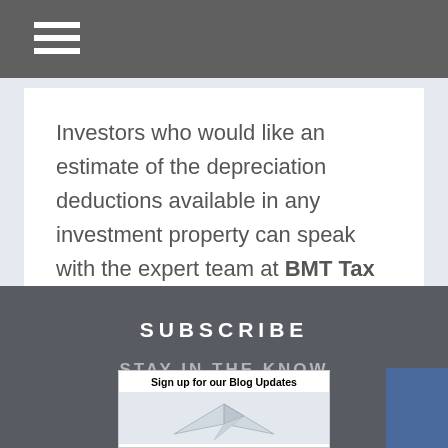Investors who would like an estimate of the depreciation deductions available in any investment property can speak with the expert team at BMT Tax Depreciation on 1300 728 726.
SUBSCRIBE
STAY IN THE KNOW
[Figure (illustration): Sign up for our Blog Updates panel showing paper plane graphic]